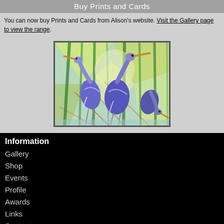Buy Prints and Cards
You can now buy Prints and Cards from Alison's website. Visit the Gallery page to view the range.
[Figure (illustration): Painting of blue herons among green reeds/grasses with a colorful abstract background in yellows, greens, and blues.]
Information
Gallery
Shop
Events
Profile
Awards
Links
Contact